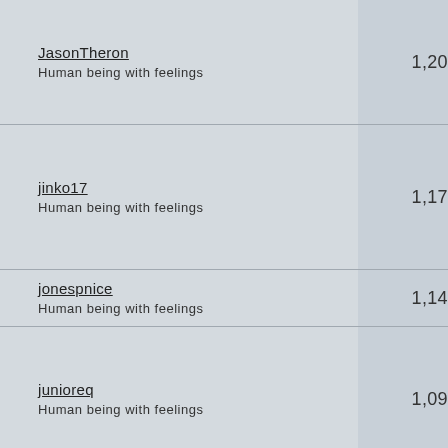| User | Score |
| --- | --- |
| JasonTheron
Human being with feelings | 1,20 |
| jinko17
Human being with feelings | 1,17 |
| jonespnice
Human being with feelings | 1,14 |
| junioreq
Human being with feelings | 1,09 |
|  |  |